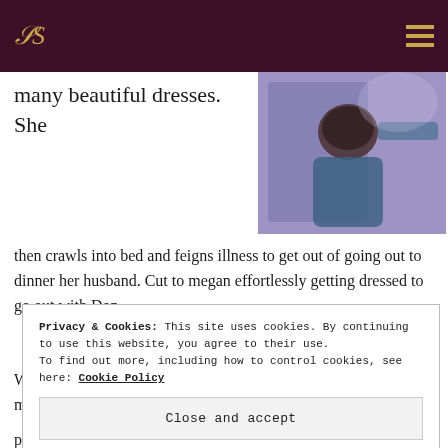S [logo] [hamburger menu]
[Figure (photo): A person getting a haircut, blue salon cape, viewed from behind, dimly lit interior]
many beautiful dresses. She then crawls into bed and feigns illness to get out of going out to dinner her husband. Cut to megan effortlessly getting dressed to go out with Don.
We then see Betty sitting on the sofa, in her dressing gown, munching her way though a box of ‘Bugles’. She’s depressed.
She even goes to the doctors to get a diet pill and has a brief thyroid tumor scare, which is found to be benign and then
Privacy & Cookies: This site uses cookies. By continuing to use this website, you agree to their use.
To find out more, including how to control cookies, see here: Cookie Policy
Close and accept
pounds and then struggle to get it off again. So shouldn’t we